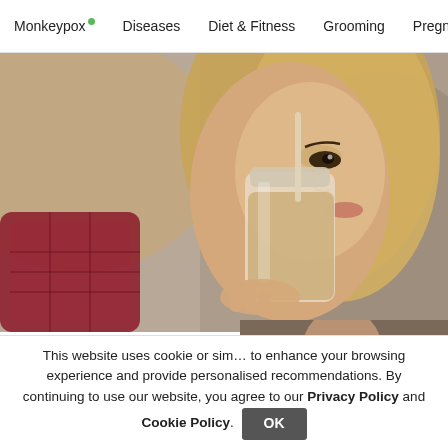Monkeypox  Diseases  Diet & Fitness  Grooming  Pregnancy & Par
[Figure (photo): Woman drinking a smoothie from a mason jar with a straw, blonde hair, outdoor blurred background]
Why people are so passio…
Kachava | Sponsored
[Figure (photo): Overlay ad showing a person in a pink shirt with FACE YOGA text in red]
This website uses cookie or similar technologies to enhance your browsing experience and provide personalised recommendations. By continuing to use our website, you agree to our Privacy Policy and Cookie Policy.